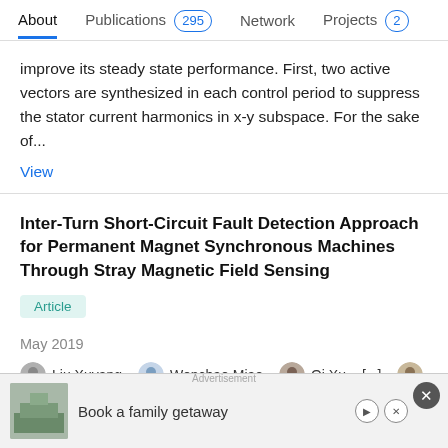About | Publications 295 | Network | Projects 2
improve its steady state performance. First, two active vectors are synthesized in each control period to suppress the stator current harmonics in x-y subspace. For the sake of...
View
Inter-Turn Short-Circuit Fault Detection Approach for Permanent Magnet Synchronous Machines Through Stray Magnetic Field Sensing
Article
May 2019
Liu Xuyang · Wenchao Miao · Qi Xu · [...] · Philip W. T. Pong
Fast online detection of inter-turn short-circuit faults for permanent magnet synchronous machines (PMSMs) is a challenging task. Previous attempts based on phase currents or